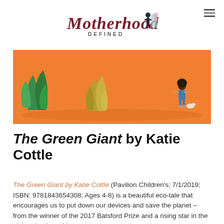Motherhood Defined
[Figure (illustration): Orange background book cover illustration showing green plant/leaf shapes and a small child figure walking on the right side]
The Green Giant by Katie Cottle
The Green Giant by Katie Cottle (Pavilion Children's; 7/1/2019; ISBN: 9781843654308; Ages 4-8) is a beautiful eco-tale that encourages us to put down our devices and save the planet – from the winner of the 2017 Batsford Prize and a rising star in the picture book world.